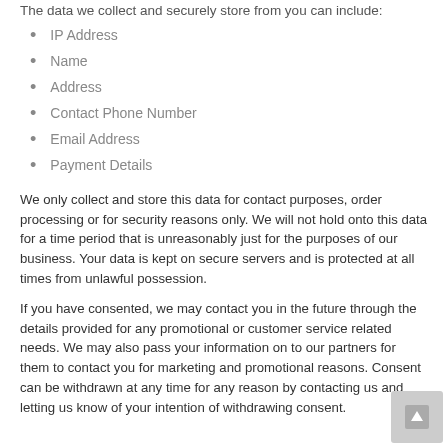The data we collect and securely store from you can include:
IP Address
Name
Address
Contact Phone Number
Email Address
Payment Details
We only collect and store this data for contact purposes, order processing or for security reasons only. We will not hold onto this data for a time period that is unreasonably just for the purposes of our business. Your data is kept on secure servers and is protected at all times from unlawful possession.
If you have consented, we may contact you in the future through the details provided for any promotional or customer service related needs. We may also pass your information on to our partners for them to contact you for marketing and promotional reasons. Consent can be withdrawn at any time for any reason by contacting us and letting us know of your intention of withdrawing consent.